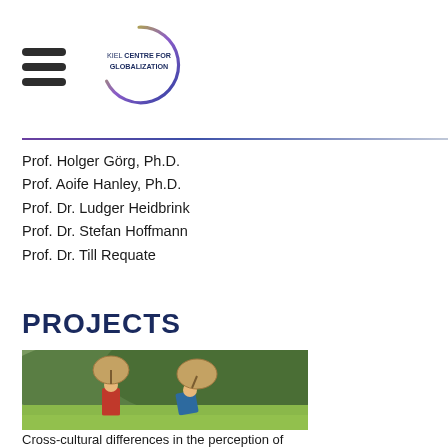[Figure (logo): Kiel Centre for Globalization logo — circular arc in gradient (yellow-green to purple) with text 'KIEL CENTRE FOR GLOBALIZATION' inside]
Prof. Holger Görg, Ph.D.
Prof. Aoife Hanley, Ph.D.
Prof. Dr. Ludger Heidbrink
Prof. Dr. Stefan Hoffmann
Prof. Dr. Till Requate
PROJECTS
[Figure (photo): Two workers carrying large woven baskets on their backs in a green tea field with hilly background]
Cross-cultural differences in the perception of